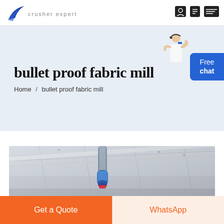crusher expert
bullet proof fabric mill
Home / bullet proof fabric mill
[Figure (photo): Industrial machinery photo showing overhead equipment with blue cylindrical component and red parts in a factory setting with ceiling trusses visible]
Get a Quote
WhatsApp